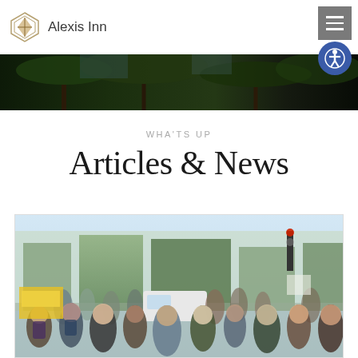Alexis Inn
[Figure (photo): Dark tree canopy / outdoor hero banner strip]
WHA'TS UP
Articles & News
[Figure (photo): Crowd of people walking on a busy city street with buildings and traffic lights in the background]